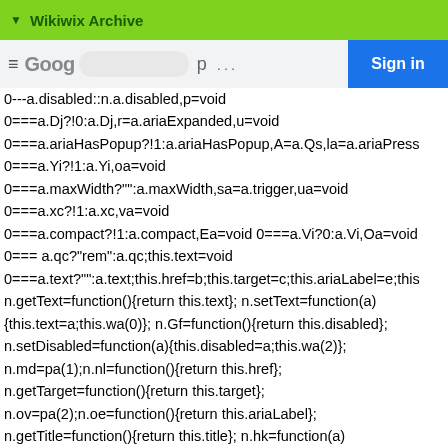▼ Wikiwix Archive
[Figure (screenshot): Browser navigation bar showing Google logo, URL bar, and Sign in button]
0---a.disabled::n.a.disabled,p=void 0===a.Dj?!0:a.Dj,r=a.ariaExpanded,u=void 0===a.ariaHasPopup?!1:a.ariaHasPopup,A=a.Qs,la=a.ariaPress 0===a.Yi?!1:a.Yi,oa=void 0===a.maxWidth?"":a.maxWidth,sa=a.trigger,ua=void 0===a.xc?!1:a.xc,va=void 0===a.compact?!1:a.compact,Ea=void 0===a.Vi?0:a.Vi,Oa=void 0=== a.qc?"rem":a.qc;this.text=void 0===a.text?"":a.text;this.href=b;this.target=c;this.ariaLabel=e;this n.getText=function(){return this.text}; n.setText=function(a){this.text=a;this.wa(0)}; n.Gf=function(){return this.disabled}; n.setDisabled=function(a){this.disabled=a;this.wa(2)}; n.md=pa(1);n.nl=function(){return this.href}; n.getTarget=function(){return this.target}; n.ov=pa(2);n.oe=function(){return this.ariaLabel}; n.getTitle=function(){return this.title}; n.hk=function(a){this.ariaExpanded=a;this.wa(3)}; n.Nt=function(){return this.ariaExpanded}; n.fu=function(){return this.ariaHasPopup}; n.te=function(){return this.icon}; n.zi=function(){return this.maxWidth}; n.getStyle=function(){return this.style};